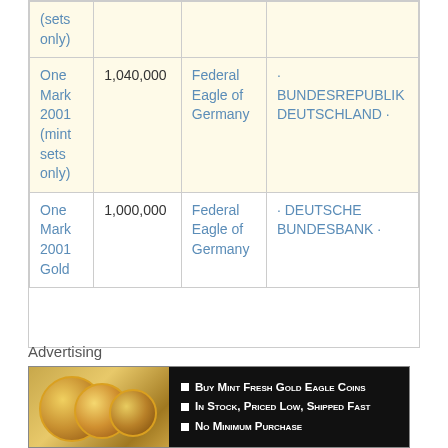| Name | Mintage | Obverse Design | Legend |
| --- | --- | --- | --- |
| (sets only) |  |  |  |
| One Mark 2001 (mint sets only) | 1,040,000 | Federal Eagle of Germany | · BUNDESREPUBLIK DEUTSCHLAND · |
| One Mark 2001 Gold | 1,000,000 | Federal Eagle of Germany | · DEUTSCHE BUNDESBANK · |
Advertising
[Figure (photo): Advertisement banner showing gold eagle coins with text: Buy Mint Fresh Gold Eagle Coins, In Stock, Priced Low, Shipped Fast, No Minimum Purchase]